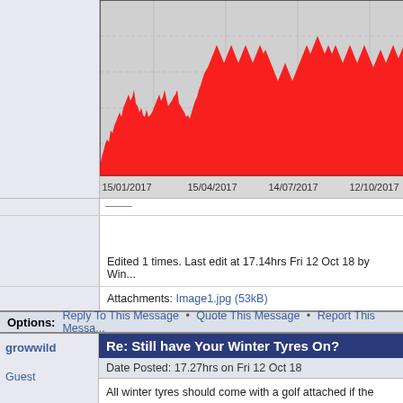[Figure (continuous-plot): Time series chart with red filled area/line plot showing data from 15/01/2017 to 12/10/2017. X-axis labels: 15/01/2017, 15/04/2017, 14/07/2017, 12/10/2017. Background is light gray with grid lines.]
Edited 1 times. Last edit at 17.14hrs Fri 12 Oct 18 by Win...
Attachments: Image1.jpg (53kB)
Options:  Reply To This Message • Quote This Message • Report This Messa...
Re: Still have Your Winter Tyres On?
growwild
Date Posted: 17.27hrs on Fri 12 Oct 18
All winter tyres should come with a golf attached if the we... jeep! Audis are awright for cairngorms as it's mostly straig...
Options:  Reply To This Message • Quote This Message • Report This Messa...
Re: Still have Your Winter Tyres On?